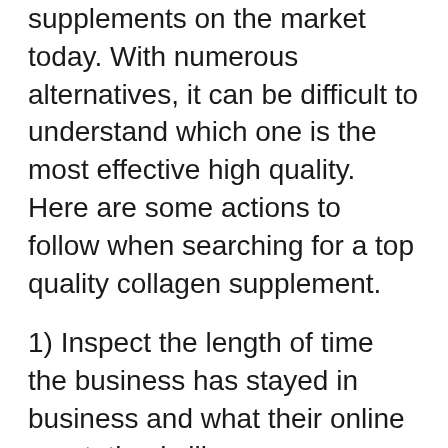supplements on the market today. With numerous alternatives, it can be difficult to understand which one is the most effective high quality. Here are some actions to follow when searching for a top quality collagen supplement.
1) Inspect the length of time the business has stayed in business and what their online reputation is like.
2) Consider the ingredients and make sure they have something that will certainly work for your needs (i.e., kind 1, kind 2, kind 3).
3) Inspect if there are any type of fillers or various other components that might not be as healthy as what you want to take into